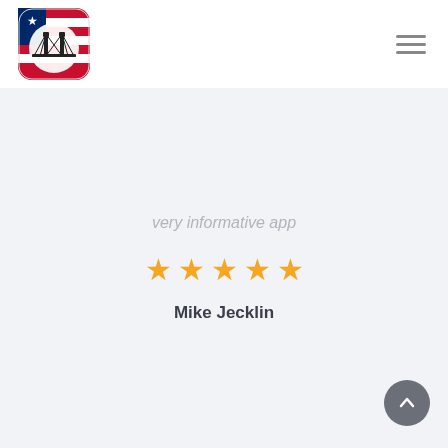[Figure (logo): App logo with American flag background and bridge icon in a rounded square]
[Figure (other): Hamburger menu icon (three horizontal lines)]
very informative app
[Figure (other): Five gold star rating]
Mike Jecklin
[Figure (other): Back to top arrow button (circular dark grey button with upward chevron)]